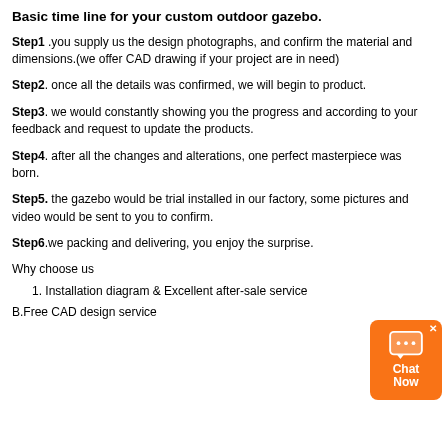Basic time line for your custom outdoor gazebo.
Step1 .you supply us the design photographs, and confirm the material and dimensions.(we offer CAD drawing if your project are in need)
Step2. once all the details was confirmed, we will begin to product.
Step3. we would constantly showing you the progress and according to your feedback and request to update the products.
Step4. after all the changes and alterations, one perfect masterpiece was born.
Step5. the gazebo would be trial installed in our factory, some pictures and video would be sent to you to confirm.
Step6.we packing and delivering, you enjoy the surprise.
Why choose us
1. Installation diagram & Excellent after-sale service
B.Free CAD design service